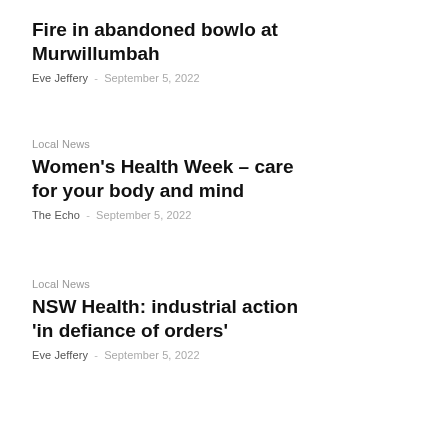Fire in abandoned bowlo at Murwillumbah
Eve Jeffery - September 5, 2022
Local News
Women's Health Week – care for your body and mind
The Echo - September 5, 2022
Local News
NSW Health: industrial action 'in defiance of orders'
Eve Jeffery - September 5, 2022